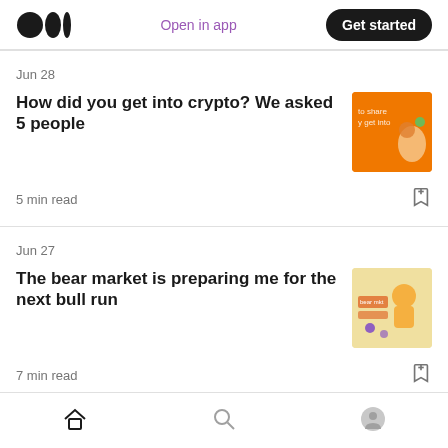Medium logo | Open in app | Get started
Jun 28
How did you get into crypto? We asked 5 people
5 min read
[Figure (illustration): Orange background illustration with text and cartoon figures related to crypto]
Jun 27
The bear market is preparing me for the next bull run
7 min read
[Figure (illustration): Light yellow/beige background illustration with a cartoon character and crypto elements]
Home | Search | Profile navigation icons